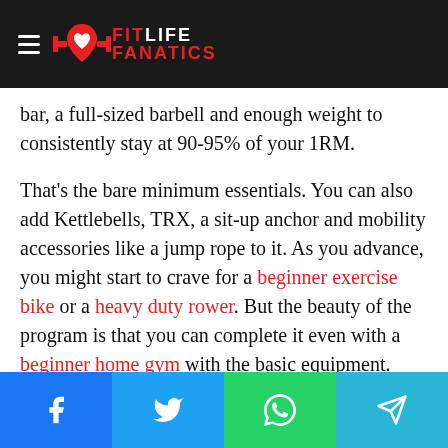FIT LIFE FANATICS
bar, a full-sized barbell and enough weight to consistently stay at 90-95% of your 1RM.
That’s the bare minimum essentials. You can also add Kettlebells, TRX, a sit-up anchor and mobility accessories like a jump rope to it. As you advance, you might start to crave for a beginner exercise bike or a heavy duty rower. But the beauty of the program is that you can complete it even with a beginner home gym with the basic equipment.
Share buttons: Facebook, Twitter, WhatsApp, Telegram